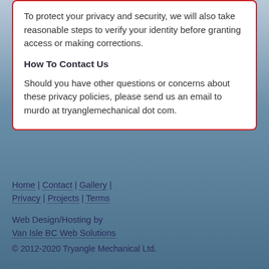To protect your privacy and security, we will also take reasonable steps to verify your identity before granting access or making corrections.
How To Contact Us
Should you have other questions or concerns about these privacy policies, please send us an email to murdo at tryanglemechanical dot com.
Home | Contact | Gallery | Privacy | Projects | Terms
Web Design/Hosting by Van Isle BC Web Solutions
© 2012-2020 Tryangle Mechanical Ltd.
-->